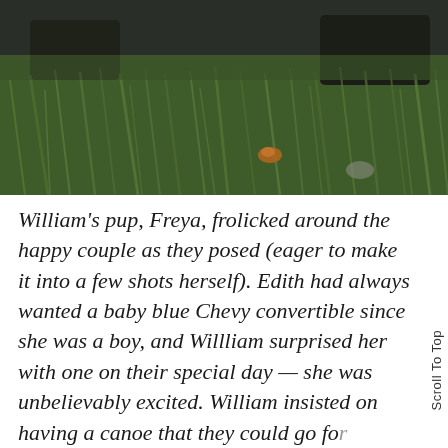[Figure (photo): Outdoor photo showing lush green grass in the foreground, with dark figures (possibly people and a dog) partially visible at the top, photographed in a natural setting.]
William's pup, Freya, frolicked around the happy couple as they posed (eager to make it into a few shots herself). Edith had always wanted a baby blue Chevy convertible since she was a boy, and Willliam surprised her with one on their special day — she was unbelievably excited. William insisted on having a canoe that they could go for a ride in; one of their first dates was a day at the lake on a canoe, and that was the day that